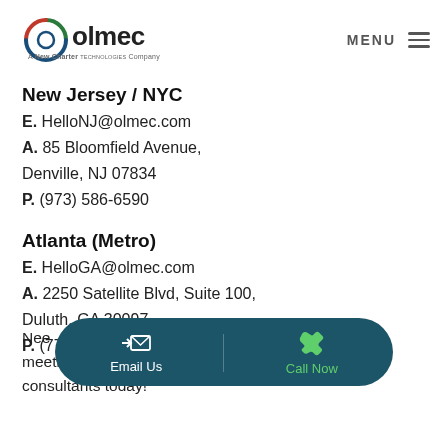[Figure (logo): Olmec logo with circular icon and text 'olmec - a New Charter Technologies Company']
New Jersey / NYC
E. HelloNJ@olmec.com
A. 85 Bloomfield Avenue, Denville, NJ 07834
P. (973) 586-6590
Atlanta (Metro)
E. HelloGA@olmec.com
A. 2250 Satellite Blvd, Suite 100, Duluth, GA 30097
P. (770) 462-2630
Need [something] meeting [something] consultants today!
[Figure (other): Dark teal pill-shaped action bar with 'Email Us' (envelope icon) and 'Call Now' (phone icon) buttons]